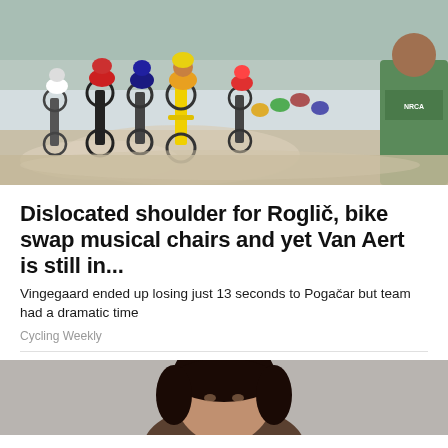[Figure (photo): Peloton of cyclists racing on a dusty road, viewed from front/side angle, with a crowd spectator visible on the right in a green vest. Riders wearing colorful jerseys and helmets.]
Dislocated shoulder for Roglič, bike swap musical chairs and yet Van Aert is still in...
Vingegaard ended up losing just 13 seconds to Pogačar but team had a dramatic time
Cycling Weekly
[Figure (photo): Portrait photo of a person with dark hair against a gray background, cropped at bottom of page.]